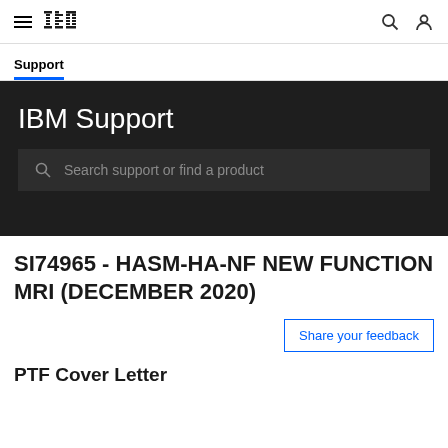IBM (logo) | Support
Support
IBM Support
Search support or find a product
SI74965 - HASM-HA-NF NEW FUNCTION MRI (DECEMBER 2020)
Share your feedback
PTF Cover Letter